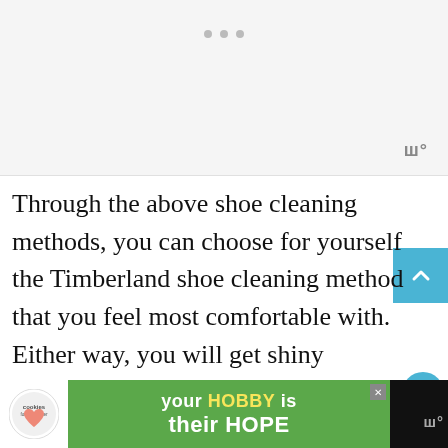[Figure (other): Gray placeholder image area with three dot navigation indicators at top]
Through the above shoe cleaning methods, you can choose for yourself the Timberland shoe cleaning method that you feel most comfortable with. Either way, you will get shiny Timberland shoes, partly because of the characteristics of real leather that get more beautiful. And others because users know how to clean Timberland shoes.
[Figure (other): Advertisement banner: cookies for kid cancer - your HOBBY is their HOPE]
your HOBBY is their HOPE